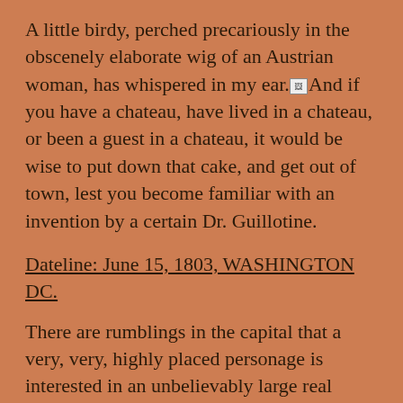A little birdy, perched precariously in the obscenely elaborate wig of an Austrian woman, has whispered in my ear. And if you have a chateau, have lived in a chateau, or been a guest in a chateau, it would be wise to put down that cake, and get out of town, lest you become familiar with an invention by a certain Dr. Guillotine.
Dateline: June 15, 1803, WASHINGTON DC.
There are rumblings in the capital that a very, very, highly placed personage is interested in an unbelievably large real estate deal.
[Figure (other): Small broken/placeholder image icon followed by text 'Related image']
We've been told that the buyer, a published author and macaroni and cheese aficionado is